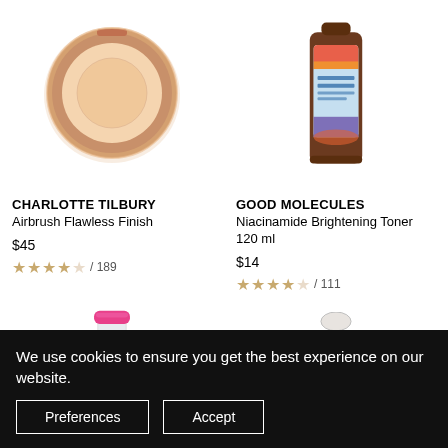[Figure (photo): Charlotte Tilbury Airbrush Flawless Finish compact powder - round compact with rose gold case, open showing peachy-nude pressed powder]
[Figure (photo): Good Molecules Niacinamide Brightening Toner 120ml - amber glass bottle with colorful label featuring pink, orange, and blue design]
CHARLOTTE TILBURY
Airbrush Flawless Finish
$45
★★★★☆ / 189
GOOD MOLECULES
Niacinamide Brightening Toner 120 ml
$14
★★★★☆ / 111
[Figure (photo): Micellar water bottle with pink cap]
[Figure (photo): Serum pump bottle with white/silver cap]
We use cookies to ensure you get the best experience on our website.